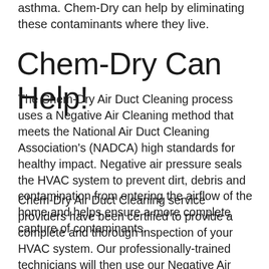asthma. Chem-Dry can help by eliminating these contaminants where they live.
Chem-Dry Can Help!
The Chem-Dry Air Duct Cleaning process uses a Negative Air Cleaning method that meets the National Air Duct Cleaning Association's (NADCA) high standards for healthy impact. Negative air pressure seals the HVAC system to prevent dirt, debris and contamination from entering the airflow of the home and helps ensure a more complete capture of contaminants.
Chem-Dry Air Duct Cleaning service providers have been certified to provide a complete and thorough inspection of your HVAC system. Our professionally-trained technicians will then use our Negative Air Cleaning method to clean the air vents and ducts and provide a healthier home for your family.